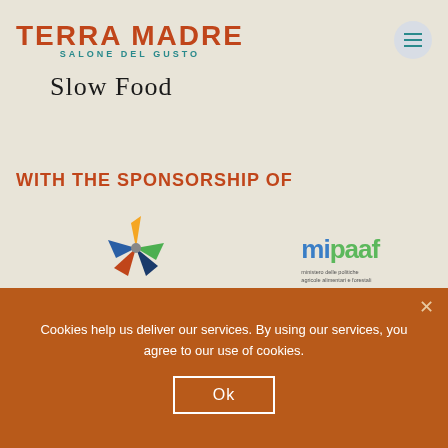[Figure (logo): Terra Madre Salone del Gusto logo with red bold text and teal subtitle]
[Figure (logo): Slow Food logo in serif text]
WITH THE SPONSORSHIP OF
[Figure (logo): Ministero dell'Ambiente e della tutela del territorio e del mare star logo]
[Figure (logo): mipaaf - ministero delle politiche agricole alimentari e forestali logo]
PLATINUM PARTNERS
Cookies help us deliver our services. By using our services, you agree to our use of cookies.
Ok